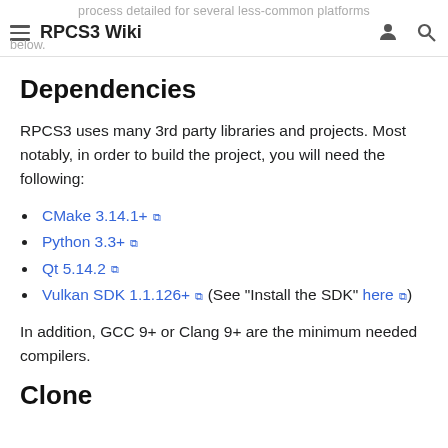RPCS3 Wiki
process detailed for several less-common platforms below.
Dependencies
RPCS3 uses many 3rd party libraries and projects. Most notably, in order to build the project, you will need the following:
CMake 3.14.1+
Python 3.3+
Qt 5.14.2
Vulkan SDK 1.1.126+ (See "Install the SDK" here)
In addition, GCC 9+ or Clang 9+ are the minimum needed compilers.
Clone